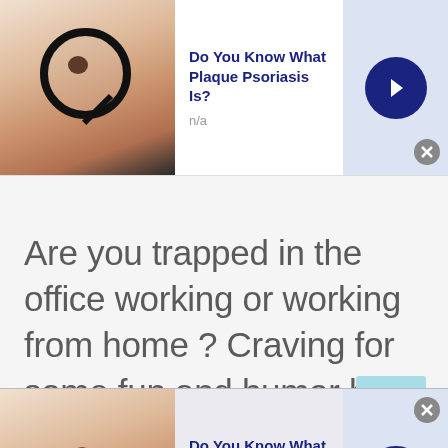[Figure (screenshot): Top advertisement banner: thumbnail of skin with magnifying glass, title 'Do You Know What Plaque Psoriasis Is?', subtitle 'n/a', blue arrow button, close button]
Are you trapped in the office working or working from home ? Craving for some fun and humor but cannot leave your work desk? Don't worry talkwithstranger gives you a leisure
[Figure (screenshot): Bottom advertisement banner: thumbnail of skin, title 'Do You Know What Plaque Psoriasis Is?', subtitle 'n/a', blue arrow button, close button]